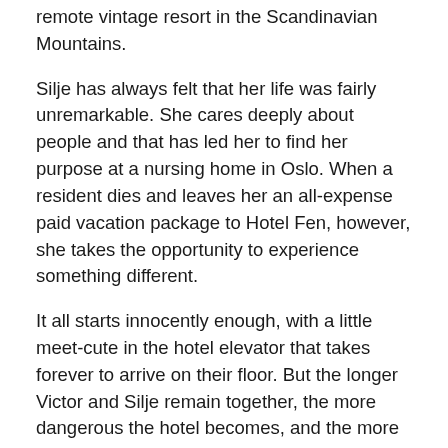remote vintage resort in the Scandinavian Mountains.
Silje has always felt that her life was fairly unremarkable. She cares deeply about people and that has led her to find her purpose at a nursing home in Oslo. When a resident dies and leaves her an all-expense paid vacation package to Hotel Fen, however, she takes the opportunity to experience something different.
It all starts innocently enough, with a little meet-cute in the hotel elevator that takes forever to arrive on their floor. But the longer Victor and Silje remain together, the more dangerous the hotel becomes, and the more they question where reality ends and the impossible begins.
And, just a reminder that Hotel Fen now live to pre-order from the following eBook stores:
Kindle